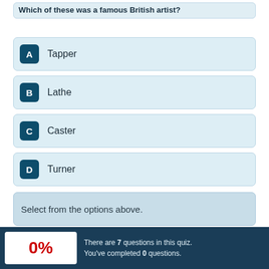Which of these was a famous British artist?
A  Tapper
B  Lathe
C  Caster
D  Turner
Select from the options above.
There are 7 questions in this quiz. You've completed 0 questions.
0%